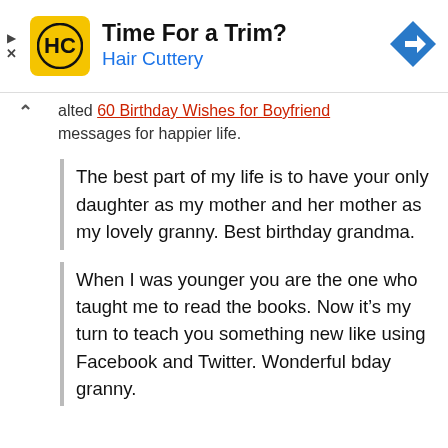[Figure (other): Hair Cuttery advertisement banner with HC logo, title 'Time For a Trim?', subtitle 'Hair Cuttery', and a blue navigation arrow icon]
alted 60 Birthday Wishes for Boyfriend messages for happier life.
The best part of my life is to have your only daughter as my mother and her mother as my lovely granny. Best birthday grandma.
When I was younger you are the one who taught me to read the books. Now it’s my turn to teach you something new like using Facebook and Twitter. Wonderful bday granny.